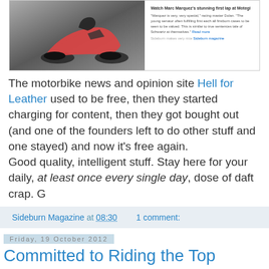[Figure (screenshot): Screenshot of the Hell for Leather website showing a motorcyclist leaning into a corner and article text about Marc Marquez at Motegi]
The motorbike news and opinion site Hell for Leather used to be free, then they started charging for content, then they got bought out (and one of the founders left to do other stuff and one stayed) and now it's free again.
Good quality, intelligent stuff. Stay here for your daily, at least once every single day, dose of daft crap. G
Sideburn Magazine at 08:30   1 comment:
Friday, 19 October 2012
Committed to Riding the Top
[Figure (screenshot): YouTube video thumbnail for Bryan Smith - San...]